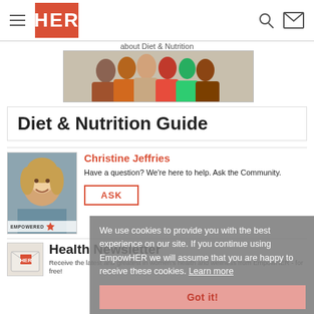[Figure (screenshot): HER website navigation bar with hamburger menu icon, HER logo in red/orange, search icon and mail icon]
about Diet & Nutrition
[Figure (photo): Group of diverse women smiling, banner image for Diet & Nutrition section]
Diet & Nutrition Guide
[Figure (photo): Headshot of Christine Jeffries, blond woman smiling, with EMPOWERED badge]
Christine Jeffries
Have a question? We're here to help. Ask the Community.
ASK
[Figure (logo): HER logo in red square on newsletter envelope graphic]
Health Newsletter
Receive the latest and greatest in women's health and wellness from EmpowHER - for free!
We use cookies to provide you with the best experience on our site. If you continue using EmpowHER we will assume that you are happy to receive these cookies. Learn more
Got it!